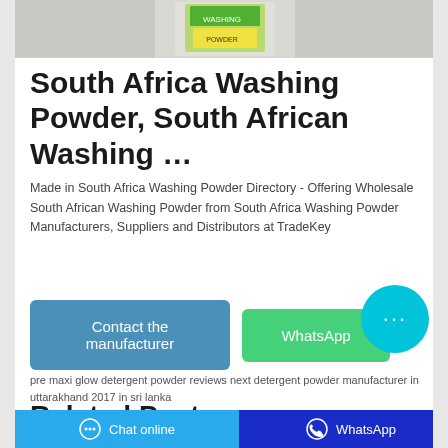[Figure (photo): Product image of washing powder packaging, partially visible at top of page]
South Africa Washing Powder, South African Washing …
Made in South Africa Washing Powder Directory - Offering Wholesale South African Washing Powder from South Africa Washing Powder Manufacturers, Suppliers and Distributors at TradeKey
pre maxi glow detergent powder reviews next detergent powder manufacturer in uttarakhand 2017 in sri lanka
Related Posts
Chat online  WhatsApp